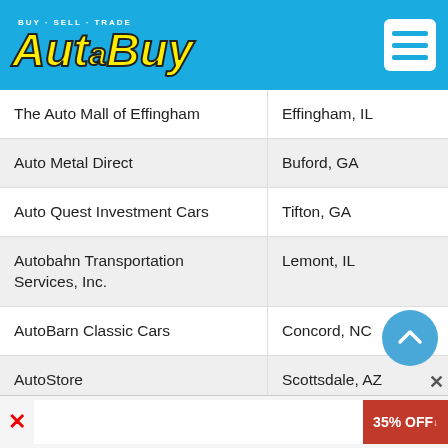[Figure (logo): AutaBuy Buy-Sell-Trade logo on blue header background with hamburger menu icon]
| Dealer Name | Location |
| --- | --- |
| The Auto Mall of Effingham | Effingham, IL |
| Auto Metal Direct | Buford, GA |
| Auto Quest Investment Cars | Tifton, GA |
| Autobahn Transportation Services, Inc. | Lemont, IL |
| AutoBarn Classic Cars | Concord, NC |
| AutoStore | Scottsdale, AZ |
| Benza Motors LLC | Milford, OH |
| Berkley Classics | Luverne, MN |
| Bethany Kars (El Caminos) | Calumet, OK |